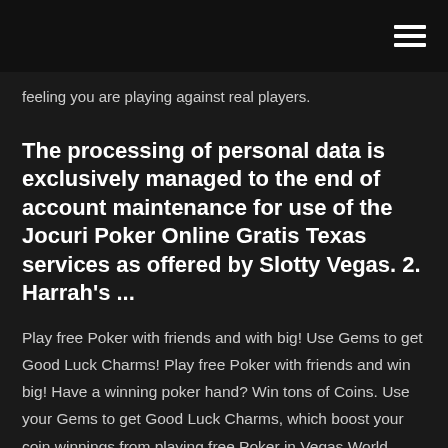feeling you are playing against real players.
The processing of personal data is exclusively managed to the end of account maintenance for use of the Jocuri Poker Online Gratis Texas services as offered by Slotty Vegas. 2. Harrah's ...
Play free Poker with friends and with big! Use Gems to get Good Luck Charms! Play free Poker with friends and win big! Have a winning poker hand? Win tons of Coins. Use your Gems to get Good Luck Charms, which boost your coin winnings from playing free Poker in Vegas World. Play multiple rounds Download our free online poker software, open an account, make your first deposit, get your poker bonus and then enjoy the action. Play poker and slots all